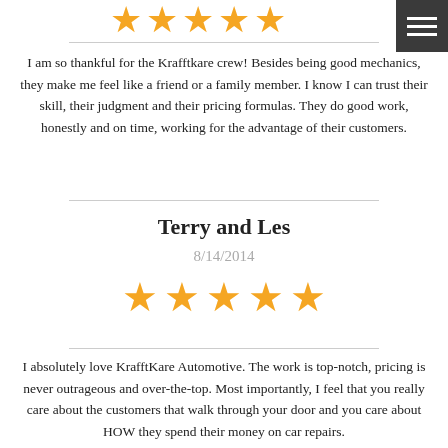[Figure (other): Five gold/yellow star rating icons shown at top (partially visible)]
I am so thankful for the Krafftkare crew! Besides being good mechanics, they make me feel like a friend or a family member. I know I can trust their skill, their judgment and their pricing formulas. They do good work, honestly and on time, working for the advantage of their customers.
Terry and Les
8/14/2014
[Figure (other): Five gold/yellow star rating icons]
I absolutely love KrafftKare Automotive. The work is top-notch, pricing is never outrageous and over-the-top. Most importantly, I feel that you really care about the customers that walk through your door and you care about HOW they spend their money on car repairs.